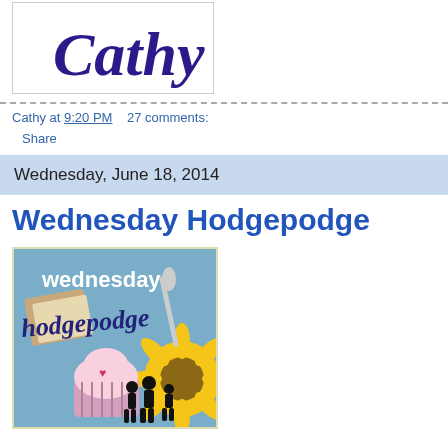[Figure (illustration): Cursive signature reading 'Cathy' in dark blue/purple ink on white background, inside a bordered box]
Cathy at 9:20 PM    27 comments:
Share
Wednesday, June 18, 2014
Wednesday Hodgepodge
[Figure (illustration): Wednesday Hodgepodge blog badge: blue background with handwritten 'wednesday hodgepodge' text, images of cupcake, sunflower, people silhouettes, and scrapbook items]